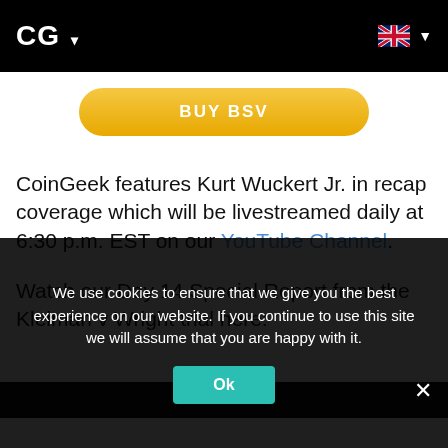CG ▾
[Figure (other): BUY BSV button - yellow pill-shaped button with white text]
CoinGeek features Kurt Wuckert Jr. in recap coverage which will be livestreamed daily at 6:30 p.m. EST on our YouTube Channel.
Watch our Day 14 Special Report from the Kleiman v Wright trial here:
[Figure (screenshot): Dark video player bar at bottom of content area]
We use cookies to ensure that we give you the best experience on our website. If you continue to use this site we will assume that you are happy with it.